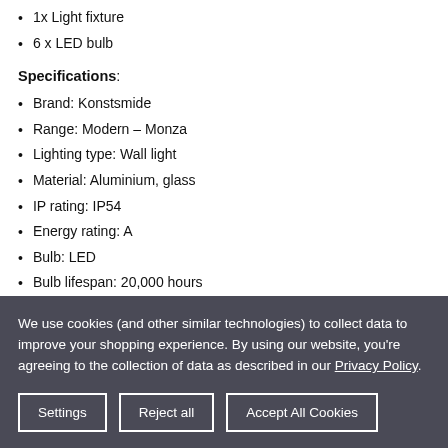1x Light fixture
6 x LED bulb
Specifications:
Brand: Konstsmide
Range: Modern – Monza
Lighting type: Wall light
Material: Aluminium, glass
IP rating: IP54
Energy rating: A
Bulb: LED
Bulb lifespan: 20,000 hours
Voltage: 230–240V
Power source: Hard-wired mains
We use cookies (and other similar technologies) to collect data to improve your shopping experience. By using our website, you're agreeing to the collection of data as described in our Privacy Policy.
Settings | Reject all | Accept All Cookies